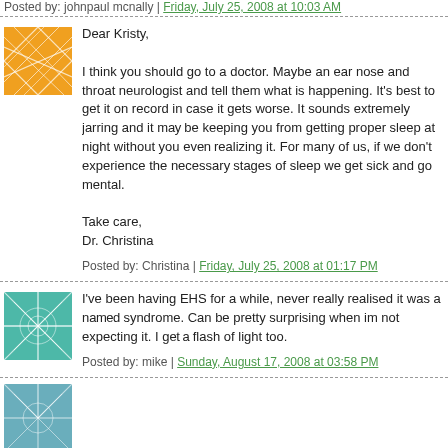Posted by: johnpaul mcnally | Friday, July 25, 2008 at 10:03 AM
[Figure (illustration): Orange avatar with abstract white line pattern]
Dear Kristy,

I think you should go to a doctor. Maybe an ear nose and throat neurologist and tell them what is happening. It's best to get it on record in case it gets worse. It sounds extremely jarring and it may be keeping you from getting proper sleep at night without you even realizing it. For many of us, if we don't experience the necessary stages of sleep we get sick and go mental.

Take care,
Dr. Christina
Posted by: Christina | Friday, July 25, 2008 at 01:17 PM
[Figure (illustration): Teal/green avatar with abstract sunburst white line pattern]
I've been having EHS for a while, never really realised it was a named syndrome. Can be pretty surprising when im not expecting it. I get a flash of light too.
Posted by: mike | Sunday, August 17, 2008 at 03:58 PM
[Figure (illustration): Blue/teal avatar with abstract pattern, partially visible]